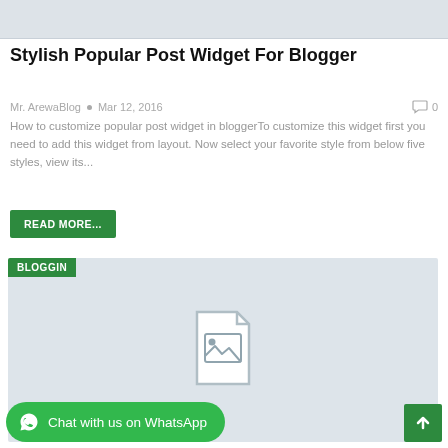[Figure (screenshot): Top image strip placeholder (grey)]
Stylish Popular Post Widget For Blogger
Mr. ArewaBlog  •  Mar 12, 2016   0
How to customize popular post widget in bloggerTo customize this widget first you need to add this widget from layout. Now select your favorite style from below five styles, view its...
READ MORE...
[Figure (screenshot): Second article card with BLOGGIN tag and image placeholder icon on grey background]
Chat with us on WhatsApp